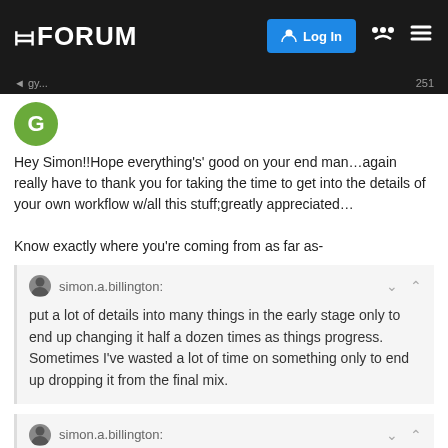W FORUM | Log In
Hey Simon!!Hope everything's' good on your end man…again really have to thank you for taking the time to get into the details of your own workflow w/all this stuff;greatly appreciated…

Know exactly where you're coming from as far as-
simon.a.billington: put a lot of details into many things in the early stage only to end up changing it half a dozen times as things progress. Sometimes I've wasted a lot of time on something only to end up dropping it from the final mix.
simon.a.billington: try to keep things as simple as I can for
16 / 18